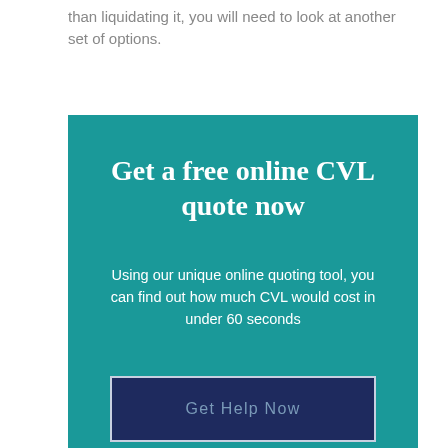than liquidating it, you will need to look at another set of options.
Get a free online CVL quote now
Using our unique online quoting tool, you can find out how much CVL would cost in under 60 seconds
Get Help Now